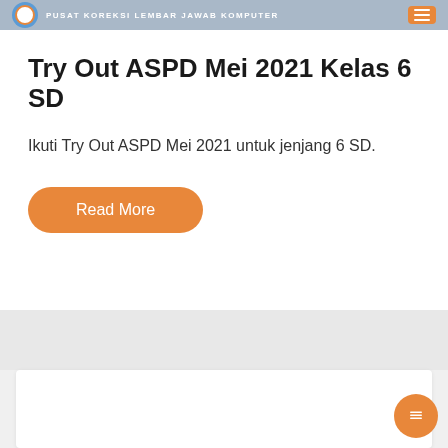PUSAT KOREKSI LEMBAR JAWAB KOMPUTER
Try Out ASPD Mei 2021 Kelas 6 SD
Ikuti Try Out ASPD Mei 2021 untuk jenjang 6 SD.
Read More